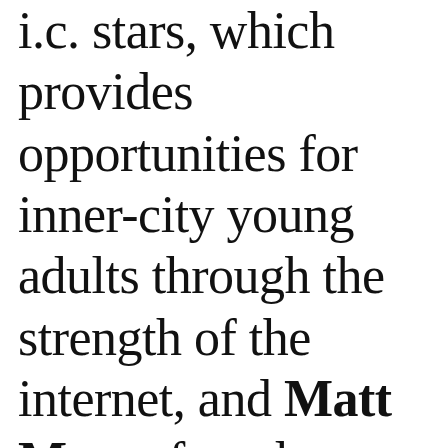i.c. stars, which provides opportunities for inner-city young adults through the strength of the internet, and Matt Moog, founder, Viewpoints, for his